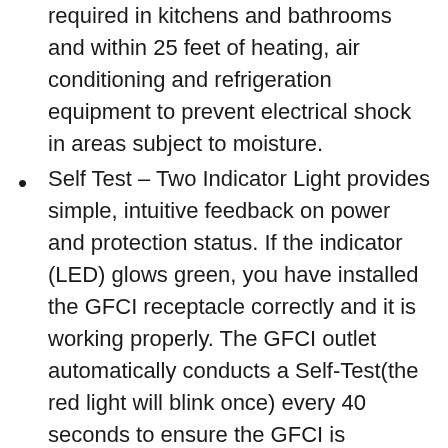required in kitchens and bathrooms and within 25 feet of heating, air conditioning and refrigeration equipment to prevent electrical shock in areas subject to moisture.
Self Test – Two Indicator Light provides simple, intuitive feedback on power and protection status. If the indicator (LED) glows green, you have installed the GFCI receptacle correctly and it is working properly. The GFCI outlet automatically conducts a Self-Test(the red light will blink once) every 40 seconds to ensure the GFCI is continually working. When the GFCI receptacle reaches the end of its' life the red indicator will turn on, it reminds you to replace the outlet in